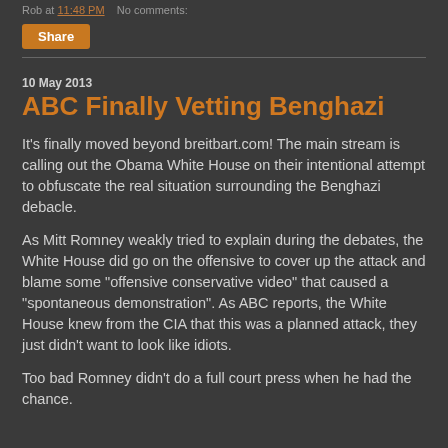Rob at 11:48 PM   No comments:
Share
10 May 2013
ABC Finally Vetting Benghazi
It's finally moved beyond breitbart.com! The main stream is calling out the Obama White House on their intentional attempt to obfuscate the real situation surrounding the Benghazi debacle.
As Mitt Romney weakly tried to explain during the debates, the White House did go on the offensive to cover up the attack and blame some "offensive conservative video" that caused a "spontaneous demonstration". As ABC reports, the White House knew from the CIA that this was a planned attack, they just didn't want to look like idiots.
Too bad Romney didn't do a full court press when he had the chance.